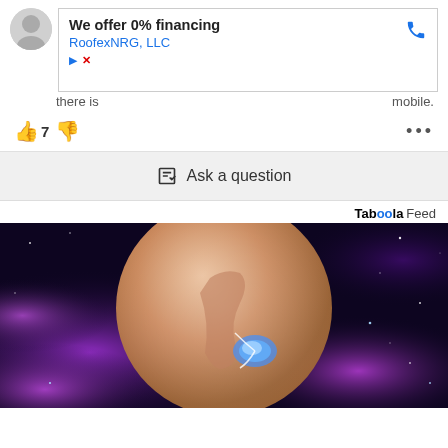[Figure (screenshot): Advertisement banner from RoofexNRG LLC offering 0% financing with a phone icon, play and close buttons. Below is partial text reading 'there is' and 'mobile.']
👍 7 👎
✏️ Ask a question
Taboola Feed
[Figure (photo): Close-up artistic image of a human ear with a small blue hearing device visible inside the ear canal, set against a cosmic purple galaxy background with stars.]